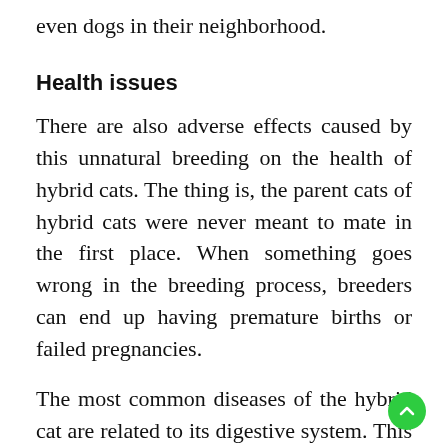even dogs in their neighborhood.
Health issues
There are also adverse effects caused by this unnatural breeding on the health of hybrid cats. The thing is, the parent cats of hybrid cats were never meant to mate in the first place. When something goes wrong in the breeding process, breeders can end up having premature births or failed pregnancies.
The most common diseases of the hybrid cat are related to its digestive system. This includes IBD (Inflammatory Bowel Disease), a